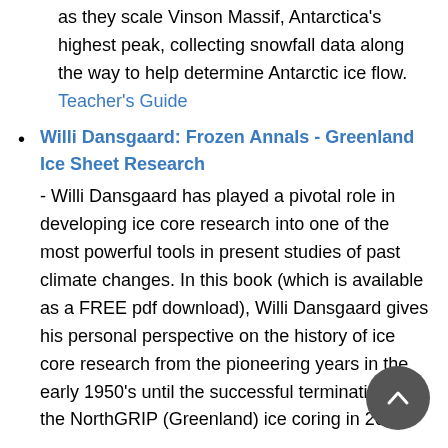as they scale Vinson Massif, Antarctica's highest peak, collecting snowfall data along the way to help determine Antarctic ice flow. Teacher's Guide
Willi Dansgaard: Frozen Annals - Greenland Ice Sheet Research
- Willi Dansgaard has played a pivotal role in developing ice core research into one of the most powerful tools in present studies of past climate changes. In this book (which is available as a FREE pdf download), Willi Dansgaard gives his personal perspective on the history of ice core research from the pioneering years in the early 1950's until the successful termination of the NorthGRIP (Greenland) ice coring in 2004.
Chester C. Langway, Jr: The History of Early